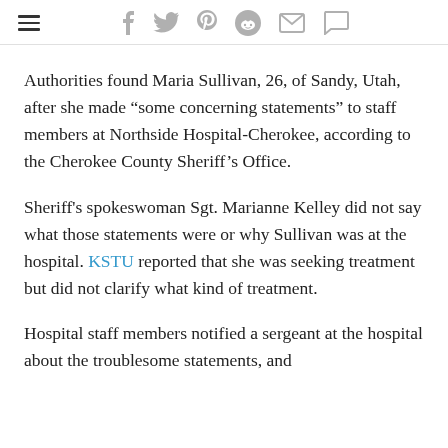[hamburger menu] [social icons: facebook, twitter, pinterest, reddit, mail, comment]
Authorities found Maria Sullivan, 26, of Sandy, Utah, after she made “some concerning statements” to staff members at Northside Hospital-Cherokee, according to the Cherokee County Sheriff’s Office.
Sheriff's spokeswoman Sgt. Marianne Kelley did not say what those statements were or why Sullivan was at the hospital. KSTU reported that she was seeking treatment but did not clarify what kind of treatment.
Hospital staff members notified a sergeant at the hospital about the troublesome statements, and